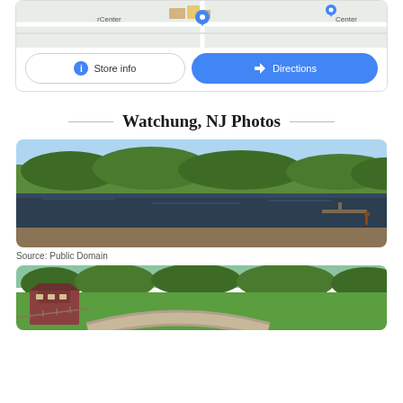[Figure (screenshot): Google Maps card showing store location with 'Store info' and 'Directions' buttons]
Watchung, NJ Photos
[Figure (photo): Panoramic photo of a lake surrounded by dense green forest and trees, with a clear blue sky. A small dock or pier is visible on the right side of the lake.]
Source: Public Domain
[Figure (photo): Aerial or elevated view of a building complex with green lawns and a curved road or driveway, surrounded by trees.]